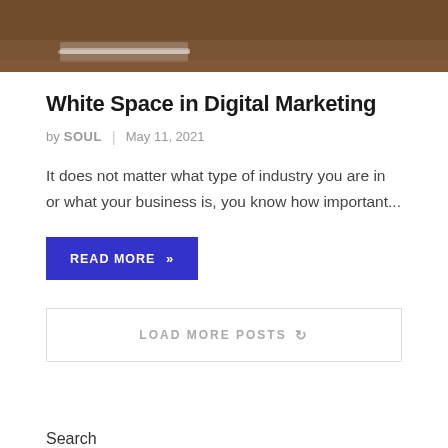[Figure (photo): Top portion of a photo showing a brown wooden desk surface with a pen/pencil visible, partially cropped at the top of the page]
White Space in Digital Marketing
by SOUL | May 11, 2021
It does not matter what type of industry you are in or what your business is, you know how important...
READ MORE »
LOAD MORE POSTS
Search